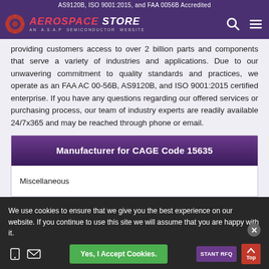AS9120B, ISO 9001:2015, and FAA 0056B Accredited
[Figure (logo): Aerospace Store logo with gear icon, red and white text on purple background, tagline AN A.S.A.P SEMICONDUCTOR WEBSITE]
providing customers access to over 2 billion parts and components that serve a variety of industries and applications. Due to our unwavering commitment to quality standards and practices, we operate as an FAA AC 00-56B, AS9120B, and ISO 9001:2015 certified enterprise. If you have any questions regarding our offered services or purchasing process, our team of industry experts are readily available 24/7x365 and may be reached through phone or email.
| Manufacturer for CAGE Code 15635 |
| --- |
| Miscellaneous |
We use cookies to ensure that we give you the best experience on our website. If you continue to use this site we will assume that you are happy with it.
Part Numbers List for CAGE Code 15635